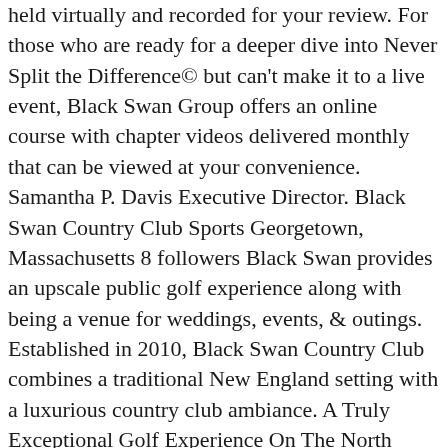held virtually and recorded for your review. For those who are ready for a deeper dive into Never Split the Difference© but can't make it to a live event, Black Swan Group offers an online course with chapter videos delivered monthly that can be viewed at your convenience. Samantha P. Davis Executive Director. Black Swan Country Club Sports Georgetown, Massachusetts 8 followers Black Swan provides an upscale public golf experience along with being a venue for weddings, events, & outings. Established in 2010, Black Swan Country Club combines a traditional New England setting with a luxurious country club ambiance. A Truly Exceptional Golf Experience On The North Shore In New England. Since new management took over a couple years ago, the course is in better shape than ever before. Carts are mandatory Saturday, Sunday, and Holiday mornings. Black Swan Country Club - Layout and Map | Course Database View an interactive course map and hole-by-hole layout. Black